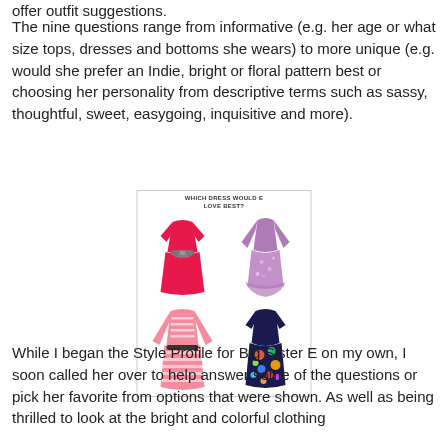offer outfit suggestions.
The nine questions range from informative (e.g. her age or what size tops, dresses and bottoms she wears) to more unique (e.g. would she prefer an Indie, bright or floral pattern best or choosing her personality from descriptive terms such as sassy, thoughtful, sweet, easygoing, inquisitive and more).
[Figure (illustration): A quiz image showing four children's dresses arranged in a 2x2 grid with the label 'WHICH DRESS WOULD E LOVE BEST?' at the top. Top left: a bright pink/red dress with a grey bow belt. Top right: a purple/mauve floral long-sleeve dress. Bottom left: a pink and white striped long-sleeve dress. Bottom right: a dark navy dress with colorful circles/dots.]
While I began the Style Profile for Big Sister E on my own, I soon called her over to help answer some of the questions or pick her favorite from options that were shown. As well as being thrilled to look at the bright and colorful clothing she was it was clear that she relished her clothing tastes in